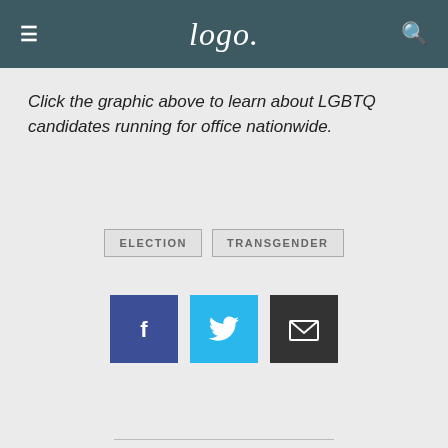Logo.
Click the graphic above to learn about LGBTQ candidates running for office nationwide.
ELECTION
TRANSGENDER
[Figure (infographic): Social share buttons: Facebook (blue), Twitter (light blue), Email (dark gray)]